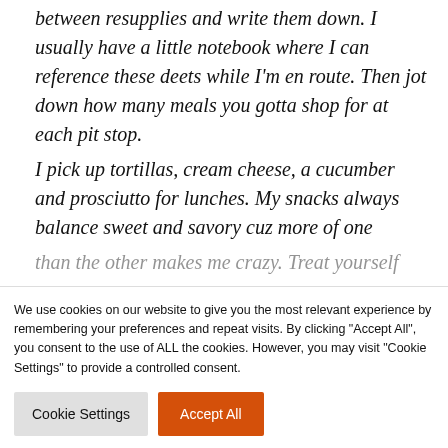between resupplies and write them down. I usually have a little notebook where I can reference these deets while I'm en route. Then jot down how many meals you gotta shop for at each pit stop. I pick up tortillas, cream cheese, a cucumber and prosciutto for lunches. My snacks always balance sweet and savory cuz more of one than the other makes me crazy. Treat yourself
We use cookies on our website to give you the most relevant experience by remembering your preferences and repeat visits. By clicking "Accept All", you consent to the use of ALL the cookies. However, you may visit "Cookie Settings" to provide a controlled consent.